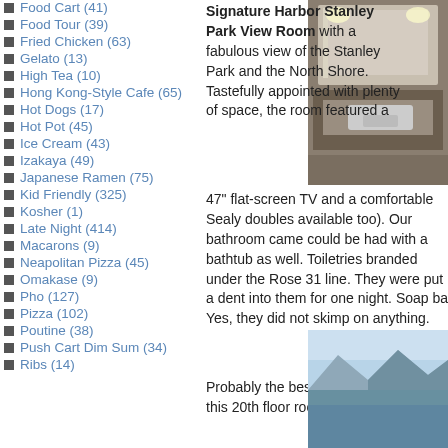Food Cart (41)
Food Tour (39)
Fried Chicken (63)
Gelato (13)
High Tea (10)
Hong Kong-Style Cafe (65)
Hot Dogs (17)
Hot Pot (45)
Ice Cream (43)
Izakaya (49)
Japanese Ramen (75)
Kid Friendly (325)
Kosher (1)
Late Night (414)
Macarons (9)
Neapolitan Pizza (45)
Omakase (9)
Pho (127)
Pizza (102)
Poutine (38)
Push Cart Dim Sum (34)
Ribs (14)
[Figure (photo): Hotel bathroom vanity with lit mirror and sink]
Signature Harbor Stanley Park View Room with a fabulous view of the Stanley Park and the North Shore. Tastefully appointed with plenty of space, the room featured a 47" flat-screen TV and a comfortable Sealy doubles available too). Our bathroom came could be had with a bathtub as well. Toiletries branded under the Rose 31 line. They were put a dent into them for one night. Soap ba Yes, they did not skimp on anything.
Probably the best feature of this 20th floor room was the
[Figure (photo): View from hotel room showing mountains and sky]